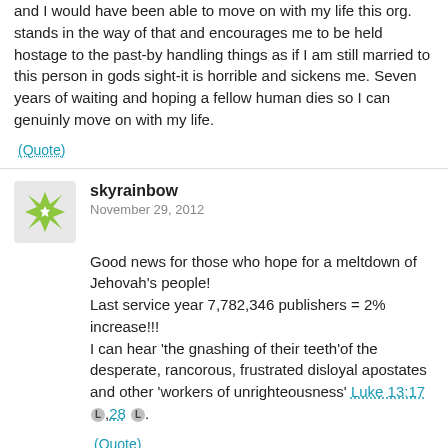and I would have been able to move on with my life this org. stands in the way of that and encourages me to be held hostage to the past-by handling things as if I am still married to this person in gods sight-it is horrible and sickens me. Seven years of waiting and hoping a fellow human dies so I can genuinly move on with my life.
(Quote)
skyrainbow
November 29, 2012
Good news for those who hope for a meltdown of Jehovah's people!
Last service year 7,782,346 publishers = 2% increase!!!
I can hear 'the gnashing of their teeth'of the desperate, rancorous, frustrated disloyal apostates and other 'workers of unrighteousness' Luke 13:17 [L],28 [L].
(Quote)
Cedars
November 30, 2012
Actually skyrainbow, if you crunch the numbers you will find that the number you've quoted represents a 1.3% increase or thereabouts, not 2%.